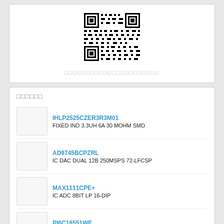[Figure (other): QR code image at top of page]
□□□□□□□□□□□□□□□□□□□□□□
□□□□□□
IHLP2525CZER3R3M01 — FIXED IND 3.3UH 6A 30 MOHM SMD
AD9745BCPZRL — IC DAC DUAL 12B 250MSPS 72-LFCSP
MAX1111CPE+ — IC ADC 8BIT LP 16-DIP
PI6C18551WE — IC CLK BUFFER 1:4 160MHZ 8SOIC
EN5319QI — DC/DC CONVERTER 0.6-5.05V 8W